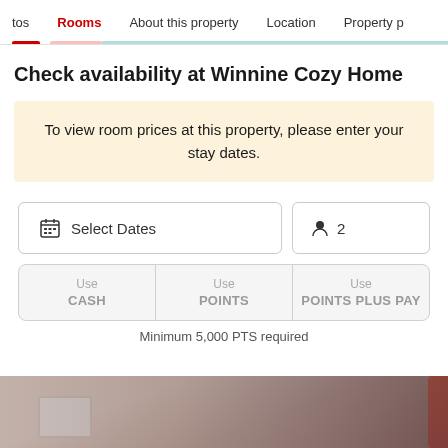tos  Rooms  About this property  Location  Property p
Check availability at Winnine Cozy Home
To view room prices at this property, please enter your stay dates.
Select Dates   2
Use CASH  Use POINTS  Use POINTS PLUS PAY
Minimum 5,000 PTS required
[Figure (photo): Room interior photo showing a window and red curtain/decoration]